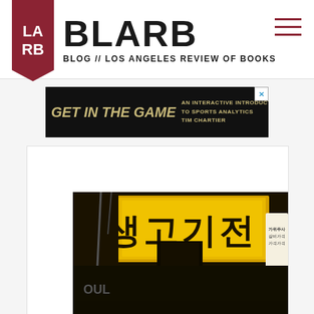[Figure (logo): LARB (Los Angeles Review of Books) BLARB blog header logo with dark red bookmark shape and BLARB title]
[Figure (infographic): Advertisement banner: GET IN THE GAME - AN INTERACTIVE INTRODUCTION TO SPORTS ANALYTICS by TIM CHARTIER, dark background with golden text]
[Figure (photo): Night photo of a Korean street restaurant with yellow illuminated signage showing Korean characters (생고기전), and a sign reading 'SEOUL' partially visible at bottom left]